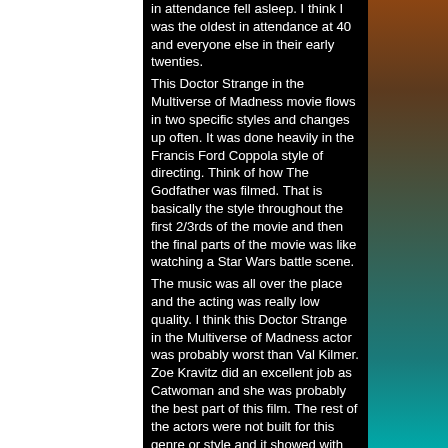in attendance fell asleep. I think I was the oldest in attendance at 40 and everyone else in their early twenties.
This Doctor Strange in the Multiverse of Madness movie flows in two specific styles and changes up often. It was done heavily in the Francis Ford Coppola style of directing. Think of how The Godfather was filmed. That is basically the style throughout the first 2/3rds of the movie and then the final parts of the movie was like watching a Star Wars battle scene.
The music was all over the place and the acting was really low quality. I think this Doctor Strange in the Multiverse of Madness actor was probably worst than Val Kilmer. Zoe Kravitz did an excellent job as Catwoman and she was probably the best part of this film. The rest of the actors were not built for this genre or style and it showed with their weird and quirky expressions.
As for the story plot, it is a disaster mix of pre